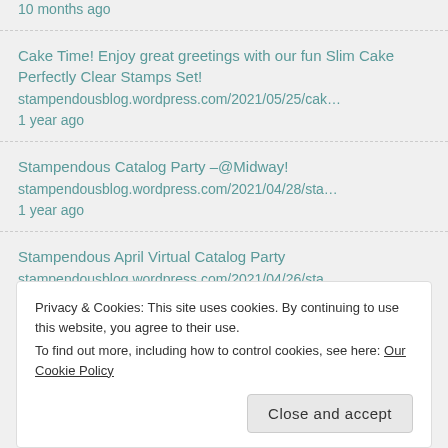10 months ago
Cake Time! Enjoy great greetings with our fun Slim Cake Perfectly Clear Stamps Set!
stampendousblog.wordpress.com/2021/05/25/cak…
1 year ago
Stampendous Catalog Party –@Midway!
stampendousblog.wordpress.com/2021/04/28/sta…
1 year ago
Stampendous April Virtual Catalog Party
stampendousblog.wordpress.com/2021/04/26/sta…
1 year ago
Privacy & Cookies: This site uses cookies. By continuing to use this website, you agree to their use.
To find out more, including how to control cookies, see here: Our Cookie Policy
Close and accept